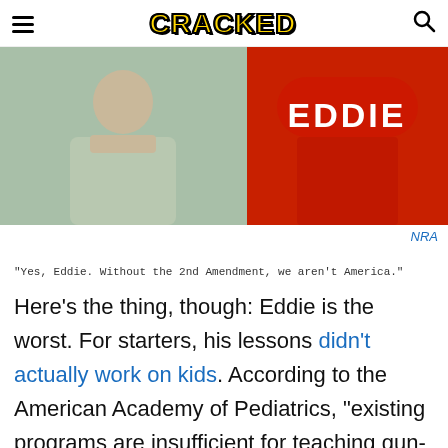CRACKED
[Figure (photo): Two-panel image: left panel shows a man in a light-colored shirt appearing thoughtful; right panel shows someone wearing a red 'EDDIE' baseball cap/jersey]
NRA
"Yes, Eddie. Without the 2nd Amendment, we aren't America."
Here's the thing, though: Eddie is the worst. For starters, his lessons didn't actually work on kids. According to the American Academy of Pediatrics, "existing programs are insufficient for teaching gun-safety skills to children" as when they tested a bunch